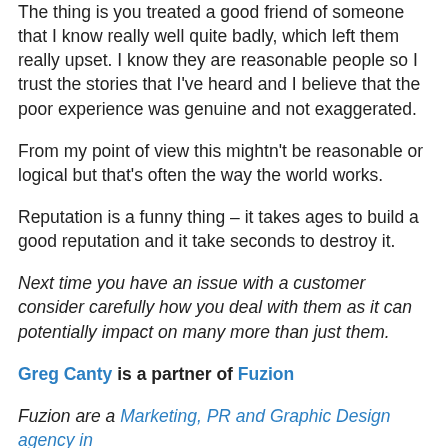The thing is you treated a good friend of someone that I know really well quite badly, which left them really upset. I know they are reasonable people so I trust the stories that I've heard and I believe that the poor experience was genuine and not exaggerated.
From my point of view this mightn't be reasonable or logical but that's often the way the world works.
Reputation is a funny thing – it takes ages to build a good reputation and it take seconds to destroy it.
Next time you have an issue with a customer consider carefully how you deal with them as it can potentially impact on many more than just them.
Greg Canty is a partner of Fuzion
Fuzion are a Marketing, PR and Graphic Design agency in